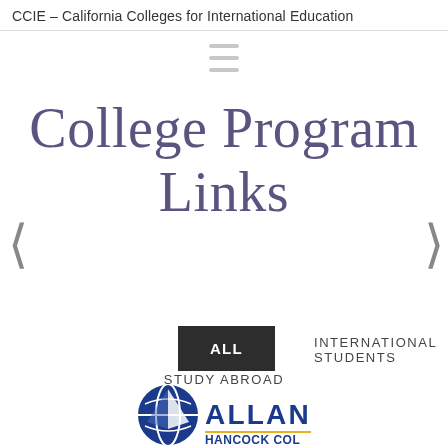CCIE – California Colleges for International Education
College Program Links
❮
❯
ALL
INTERNATIONAL STUDENTS
STUDY ABROAD
[Figure (logo): Allan Hancock College logo with blue circle/globe icon and bold blue text 'ALLAN' with bottom text partially visible]